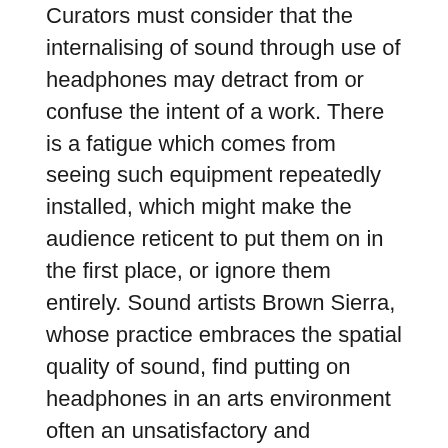Curators must consider that the internalising of sound through use of headphones may detract from or confuse the intent of a work. There is a fatigue which comes from seeing such equipment repeatedly installed, which might make the audience reticent to put them on in the first place, or ignore them entirely. Sound artists Brown Sierra, whose practice embraces the spatial quality of sound, find putting on headphones in an arts environment often an unsatisfactory and awkward experience. [30]
Other times, however, headphones are integral to the piece, as in the work of Janet Cardiff and Christina Kubisch. Cardiff has made works where she stipulates that her audio must be listened to with headphones. In Her Long Black Hair (2005), her headphone-based narration and the exterior sounds of the Central Park location become a method of creating a reflective, ever